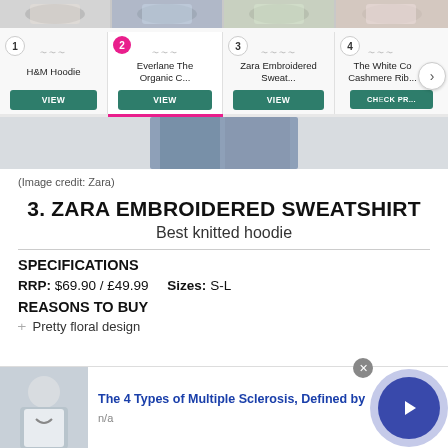[Figure (screenshot): Product comparison carousel showing 4 items: 1. H&M Hoodie, 2. Everlane The Organic C... (active/selected), 3. Zara Embroidered Sweat..., 4. The White Co... Cashmere Rib... Each with VIEW or CHECK PRICE buttons. Pink underline tab indicator under item 2.]
(Image credit: Zara)
3. ZARA EMBROIDERED SWEATSHIRT
Best knitted hoodie
SPECIFICATIONS
RRP: $69.90 / £49.99    Sizes: S-L
REASONS TO BUY
+ Pretty floral design
[Figure (screenshot): Advertisement banner: The 4 Types of Multiple Sclerosis, Defined by... with doctor/patient image on left and blue navigation arrow button on right. n/a sub-label.]